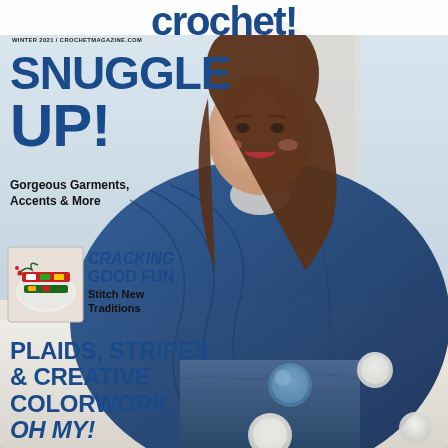[Figure (photo): Magazine cover of Crochet! Winter 2021. A smiling woman with long brown hair sits on a white sofa, wrapped in a large navy blue crocheted blanket/wrap with pompoms. Background is light and airy. A small inset photo shows colorful crocheted Christmas crackers on a plate with greenery.]
crochet!
WINTER 2021 / CROCHETMAGAZINE.COM
SNUGGLE UP!
Gorgeous Garments, Accents & More
CRACKING GOOD FUN Stitch New Traditions
PLAIDS, STRIPES & CREATIVE COLORWORK, OH MY!